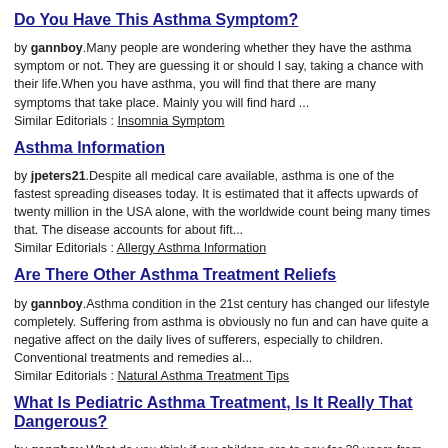Do You Have This Asthma Symptom?
by gannboy.Many people are wondering whether they have the asthma symptom or not. They are guessing it or should I say, taking a chance with their life.When you have asthma, you will find that there are many symptoms that take place. Mainly you will find hard ...
Similar Editorials : Insomnia Symptom
Asthma Information
by jpeters21.Despite all medical care available, asthma is one of the fastest spreading diseases today. It is estimated that it affects upwards of twenty million in the USA alone, with the worldwide count being many times that. The disease accounts for about fift...
Similar Editorials : Allergy Asthma Information
Are There Other Asthma Treatment Reliefs
by gannboy.Asthma condition in the 21st century has changed our lifestyle completely. Suffering from asthma is obviously no fun and can have quite a negative affect on the daily lives of sufferers, especially to children. Conventional treatments and remedies al...
Similar Editorials : Natural Asthma Treatment Tips
What Is Pediatric Asthma Treatment, Is It Really That Dangerous?
by gannboy.What do you think if our children are to pay for 20 years from now after the full side effects of asthma drugs are known? Curing pediatric asthma with time bombs.When you discover that your child is suffering from asthma your doctor will undoubtedly ...
Similar Editorials : Natural Asthma Treatment Tips